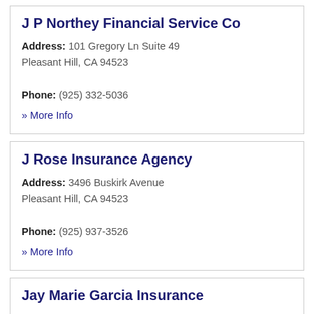J P Northey Financial Service Co
Address: 101 Gregory Ln Suite 49
Pleasant Hill, CA 94523
Phone: (925) 332-5036
» More Info
J Rose Insurance Agency
Address: 3496 Buskirk Avenue
Pleasant Hill, CA 94523
Phone: (925) 937-3526
» More Info
Jay Marie Garcia Insurance
Address: 1630 Contra Costa Blvd Suite 215
Pleasant Hill, CA 94523